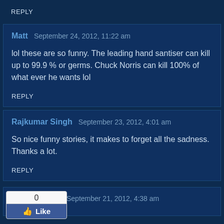REPLY
Matt   September 24, 2012, 11:22 am
lol these are so funny. The leading hand santiser can kill up to 99.9 % or germs. Chuck Norris can kill 100% of what ever he wants lol
REPLY
Rajkumar Singh   September 23, 2012, 4:01 am
So nice funny stories, it makes to forget all the sadness. Thanks a lot.
REPLY
[Figure (other): Facebook Like button widget showing count 0 and a blue Like button with thumbs up icon]
September 21, 2012, 4:38 am